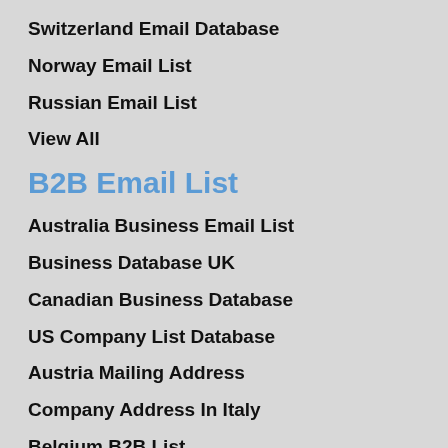Switzerland Email Database
Norway Email List
Russian Email List
View All
B2B Email List
Australia Business Email List
Business Database UK
Canadian Business Database
US Company List Database
Austria Mailing Address
Company Address In Italy
Belgium B2B List
Denmark B2B Email Database